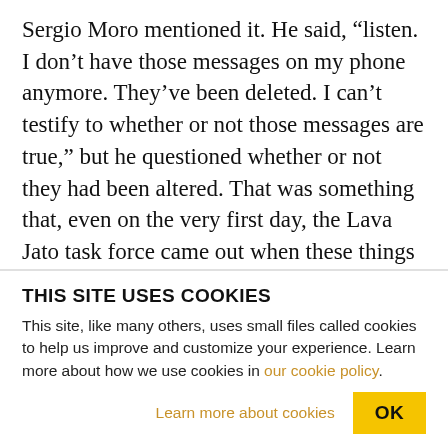Sergio Moro mentioned it. He said, “listen. I don’t have those messages on my phone anymore. They’ve been deleted. I can’t testify to whether or not those messages are true,” but he questioned whether or not they had been altered. That was something that, even on the very first day, the Lava Jato task force came out when these things were leaked. On June 10th they came out, and they verified that the messages that were published by The Intercept, that they were true. The telegram service, the telegram messaging application through which these messages were sent,
THIS SITE USES COOKIES
This site, like many others, uses small files called cookies to help us improve and customize your experience. Learn more about how we use cookies in our cookie policy.
Learn more about cookies
OK